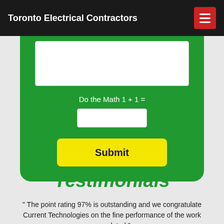Toronto Electrical Contractors
Do the Math  1 + 1 =
Submit
Testimonials
" The point rating 97% is outstanding and we congratulate Current Technologies on the fine performance of the work completed."